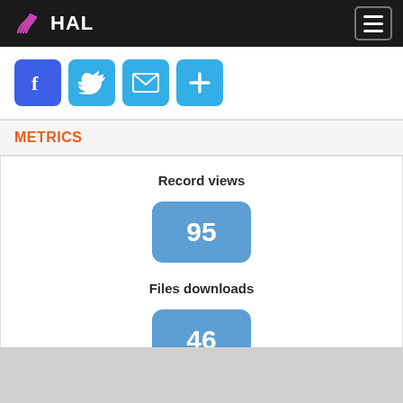HAL
[Figure (infographic): Social sharing icons: Facebook (blue f), Twitter (blue bird), Email (blue envelope), More/Plus (blue plus)]
METRICS
Record views
95
Files downloads
46